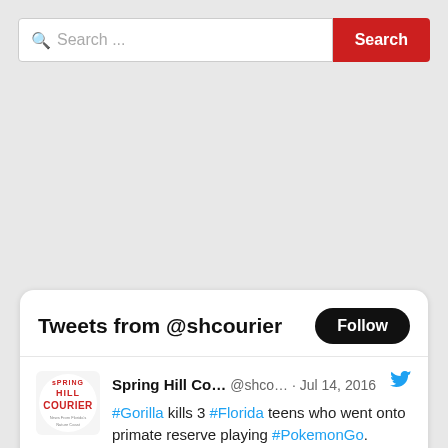[Figure (screenshot): Search bar with text field showing 'Search...' placeholder and a red 'Search' button]
[Figure (screenshot): Twitter widget card showing 'Tweets from @shcourier' with a Follow button, and a tweet from Spring Hill Courier dated Jul 14, 2016 reading: #Gorilla kills 3 #Florida teens who went onto primate reserve playing #PokemonGo. goo.gl/3LiS9j]